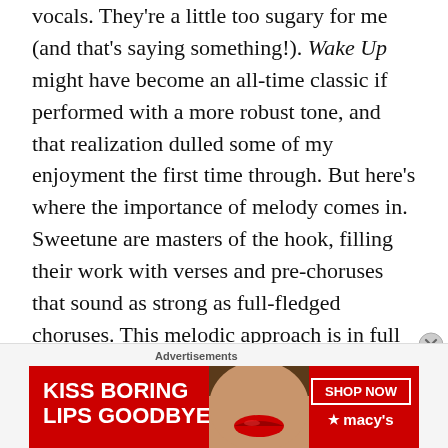vocals. They're a little too sugary for me (and that's saying something!). Wake Up might have become an all-time classic if performed with a more robust tone, and that realization dulled some of my enjoyment the first time through. But here's where the importance of melody comes in. Sweetune are masters of the hook, filling their work with verses and pre-choruses that sound as strong as full-fledged choruses. This melodic approach is in full effect here. Wake Up's pre-chorus is probably my favorite bit of pop melody so far this year, offering an off-kilter sense of build before the track launches into a more simplistic, chant-heavy hook. Through it all, the energy is ebullient and utterly refreshing. Screw self-seriousness and artistic value. Give me the unabashed
Advertisements
[Figure (infographic): Advertisement banner for Macy's lipstick: red background with text 'KISS BORING LIPS GOODBYE', image of woman's face with red lips, 'SHOP NOW' button, and Macy's star logo]